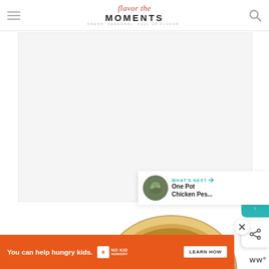Flavor the Moments — FRESH. SEASONAL. FULL OF FLAVOR.
[Figure (other): Large gray placeholder advertisement box]
[Figure (photo): Bowl of noodle soup with vegetables, herbs, and chopsticks viewed from above]
WHAT'S NEXT → One Pot Chicken Pes...
You can help hungry kids. NO KID HUNGRY LEARN HOW